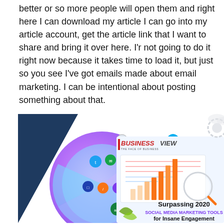better or so more people will open them and right here I can download my article I can go into my article account, get the article link that I want to share and bring it over here. I'r not going to do it right now because it takes time to load it, but just so you see I've got emails made about email marketing. I can be intentional about posting something about that.
[Figure (infographic): Social media marketing tools infographic showing a circular diagram with various social media platform logos (Skype, Google, Buffer, etc.) on the left, and a Business View branded panel on the right with a bar chart and magnifying glass illustration, titled 'Surpassing 2020 SOCIAL MEDIA MARKETING TOOLS for Insane Engagement']